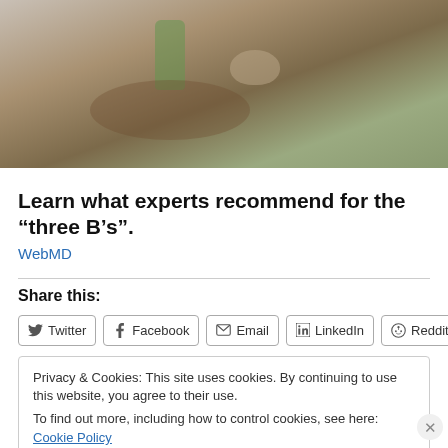[Figure (photo): A person sitting at a table with a green smoothie drink in a glass and a bowl, photographed from above]
Learn what experts recommend for the “three B’s”.
WebMD
Share this:
Twitter Facebook Email LinkedIn Reddit
Privacy & Cookies: This site uses cookies. By continuing to use this website, you agree to their use.
To find out more, including how to control cookies, see here: Cookie Policy